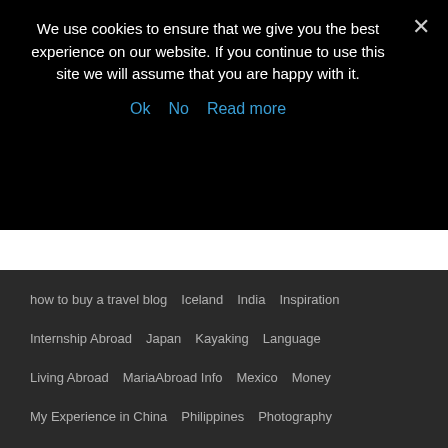We use cookies to ensure that we give you the best experience on our website. If you continue to use this site we will assume that you are happy with it.
Ok   No   Read more
how to buy a travel blog
Iceland
India
Inspiration
Internship Abroad
Japan
Kayaking
Language
Living Abroad
MariaAbroad Info
Mexico
Money
My Experience in China
Philippines
Photography
Photo of the Day
Recipe
Restaurants
Reviews
Road Trip
San Diego
Scholarships
Stay in Touch
Study Abroad
Travel
Travel Blogging
USA
Videos
Washington DC